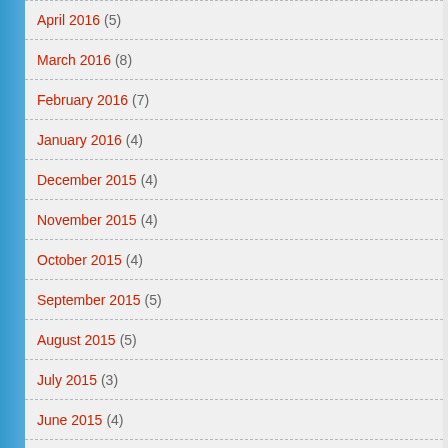April 2016 (5)
March 2016 (8)
February 2016 (7)
January 2016 (4)
December 2015 (4)
November 2015 (4)
October 2015 (4)
September 2015 (5)
August 2015 (5)
July 2015 (3)
June 2015 (4)
May 2015 (4)
April 2015 (5)